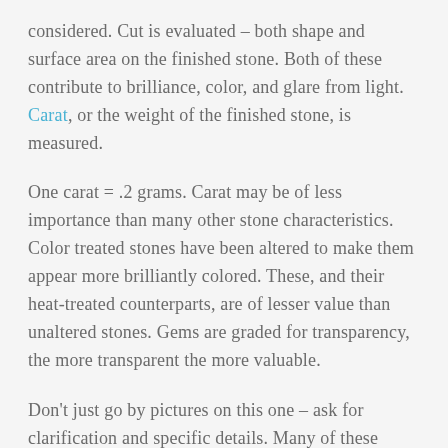considered. Cut is evaluated – both shape and surface area on the finished stone. Both of these contribute to brilliance, color, and glare from light. Carat, or the weight of the finished stone, is measured.
One carat = .2 grams. Carat may be of less importance than many other stone characteristics. Color treated stones have been altered to make them appear more brilliantly colored. These, and their heat-treated counterparts, are of lesser value than unaltered stones. Gems are graded for transparency, the more transparent the more valuable.
Don't just go by pictures on this one – ask for clarification and specific details. Many of these